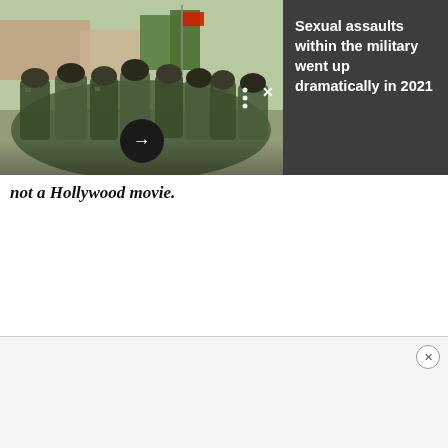[Figure (photo): Military soldiers in camouflage uniforms gathered together, likely Marines, with a flag visible in background and buildings. An overlay panel on the right shows a dark gray box with headline text. Arrow button visible in center of image for navigation.]
Sexual assaults within the military went up dramatically in 2021
not a Hollywood movie.
[Figure (other): Advertisement banner at the bottom of the page, light gray background with close (X) button in top right corner.]